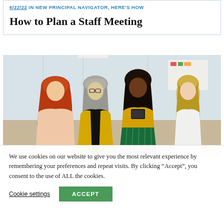6/22/22 IN NEW PRINCIPAL NAVIGATOR, HERE'S HOW
How to Plan a Staff Meeting
[Figure (photo): Four women in an office setting having a discussion. One woman wearing a yellow blouse and green striped skirt holds a tablet, standing in the center. Others are gathered around her including a woman with long red hair in a light pink top, a woman with short grey hair and glasses, and a woman with blonde hair in a white top.]
We use cookies on our website to give you the most relevant experience by remembering your preferences and repeat visits. By clicking “Accept”, you consent to the use of ALL the cookies.
Cookie settings
ACCEPT